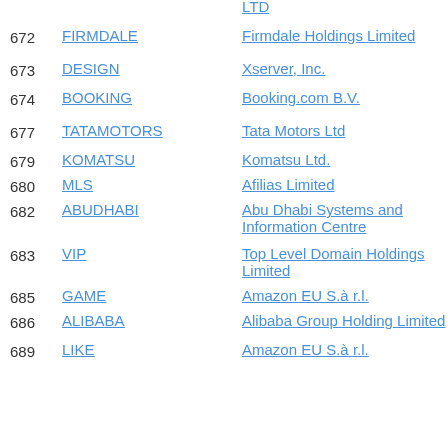672 FIRMDALE — Firmdale Holdings Limited
673 DESIGN — Xserver, Inc.
674 BOOKING — Booking.com B.V.
677 TATAMOTORS — Tata Motors Ltd
679 KOMATSU — Komatsu Ltd.
680 MLS — Afilias Limited
682 ABUDHABI — Abu Dhabi Systems and Information Centre
683 VIP — Top Level Domain Holdings Limited
685 GAME — Amazon EU S.à r.l.
686 ALIBABA — Alibaba Group Holding Limited
689 LIKE — Amazon EU S.à r.l.